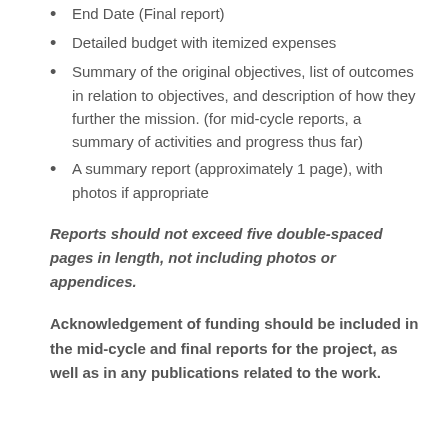End Date (Final report)
Detailed budget with itemized expenses
Summary of the original objectives, list of outcomes in relation to objectives, and description of how they further the mission. (for mid-cycle reports, a summary of activities and progress thus far)
A summary report (approximately 1 page), with photos if appropriate
Reports should not exceed five double-spaced pages in length, not including photos or appendices.
Acknowledgement of funding should be included in the mid-cycle and final reports for the project, as well as in any publications related to the work.